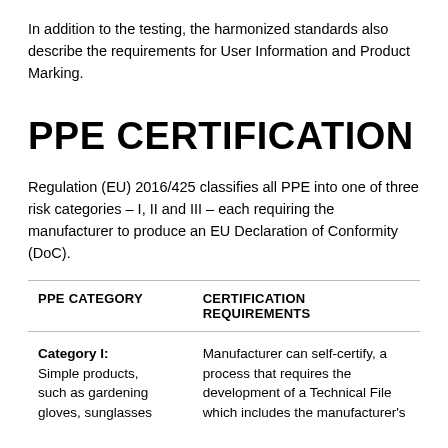In addition to the testing, the harmonized standards also describe the requirements for User Information and Product Marking.
PPE CERTIFICATION
Regulation (EU) 2016/425 classifies all PPE into one of three risk categories – I, II and III – each requiring the manufacturer to produce an EU Declaration of Conformity (DoC).
| PPE CATEGORY | CERTIFICATION REQUIREMENTS |
| --- | --- |
| Category I: Simple products, such as gardening gloves, sunglasses | Manufacturer can self-certify, a process that requires the development of a Technical File which includes the manufacturer's |